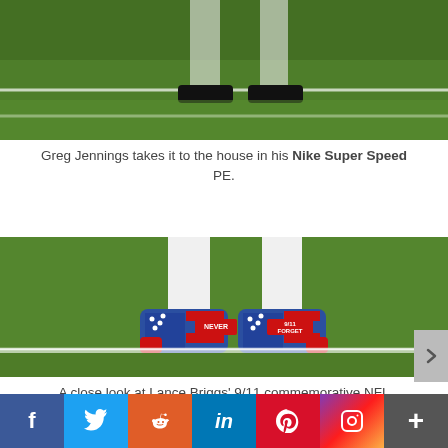[Figure (photo): Football player legs on green field, partial view from knees down, white uniform and green grass background]
Greg Jennings takes it to the house in his Nike Super Speed PE.
[Figure (photo): Close-up of Lance Briggs' 9/11 commemorative NFL Reebok football cleats on green field turf, red-white-blue American flag pattern cleats with text on them]
A close look at Lance Briggs' 9/11 commemorative NFL Viz II Form Electrify Reebok football cleats.
f  Twitter  Reddit  in  Pinterest  Instagram  +